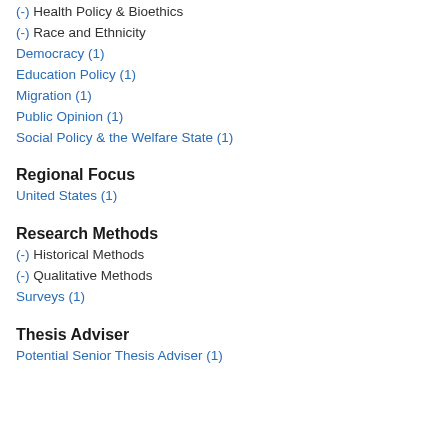(-) Health Policy & Bioethics
(-) Race and Ethnicity
Democracy (1)
Education Policy (1)
Migration (1)
Public Opinion (1)
Social Policy & the Welfare State (1)
Regional Focus
United States (1)
Research Methods
(-) Historical Methods
(-) Qualitative Methods
Surveys (1)
Thesis Adviser
Potential Senior Thesis Adviser (1)